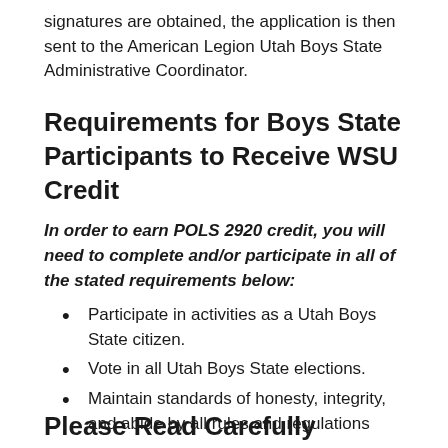signatures are obtained, the application is then sent to the American Legion Utah Boys State Administrative Coordinator.
Requirements for Boys State Participants to Receive WSU Credit
In order to earn POLS 2920 credit, you will need to complete and/or participate in all of the stated requirements below:
Participate in activities as a Utah Boys State citizen.
Vote in all Utah Boys State elections.
Maintain standards of honesty, integrity, and abide by all rules and regulations
Please Read Carefully